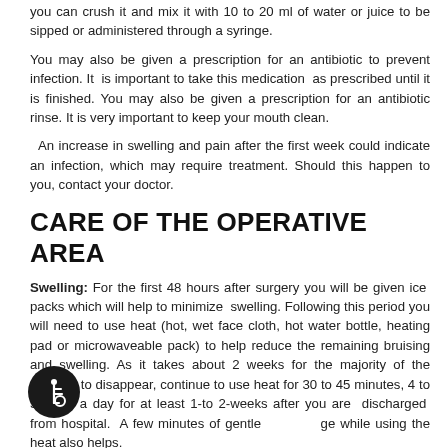you can crush it and mix it with 10 to 20 ml of water or juice to be sipped or administered through a syringe.
You may also be given a prescription for an antibiotic to prevent infection. It is important to take this medication as prescribed until it is finished. You may also be given a prescription for an antibiotic rinse. It is very important to keep your mouth clean.
An increase in swelling and pain after the first week could indicate an infection, which may require treatment. Should this happen to you, contact your doctor.
CARE OF THE OPERATIVE AREA
Swelling: For the first 48 hours after surgery you will be given ice packs which will help to minimize swelling. Following this period you will need to use heat (hot, wet face cloth, hot water bottle, heating pad or microwaveable pack) to help reduce the remaining bruising and swelling. As it takes about 2 weeks for the majority of the swelling to disappear, continue to use heat for 30 to 45 minutes, 4 to 5 times a day for at least 1-to 2-weeks after you are discharged from hospital. A few minutes of gentle massage while using the heat also helps.
You may experience “rebound” or increased swelling 4 to 5 days